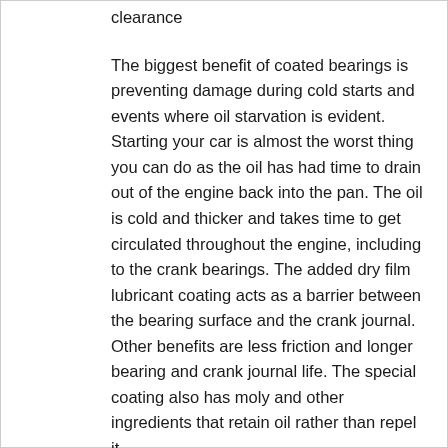clearance
The biggest benefit of coated bearings is preventing damage during cold starts and events where oil starvation is evident. Starting your car is almost the worst thing you can do as the oil has had time to drain out of the engine back into the pan. The oil is cold and thicker and takes time to get circulated throughout the engine, including to the crank bearings. The added dry film lubricant coating acts as a barrier between the bearing surface and the crank journal. Other benefits are less friction and longer bearing and crank journal life. The special coating also has moly and other ingredients that retain oil rather than repel it.
This coating process was developed for and is used in race engines, and applied to street and performance engines. It is one of the best upgrades you can make to an engine.